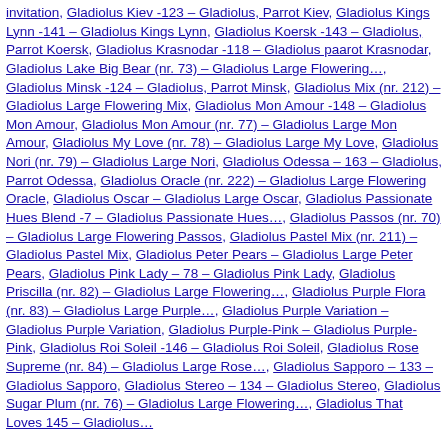invitation, Gladiolus Kiev -123 – Gladiolus, Parrot Kiev, Gladiolus Kings Lynn -141 – Gladiolus Kings Lynn, Gladiolus Koersk -143 – Gladiolus, Parrot Koersk, Gladiolus Krasnodar -118 – Gladiolus paarot Krasnodar, Gladiolus Lake Big Bear (nr. 73) – Gladiolus Large Flowering…, Gladiolus Minsk -124 – Gladiolus, Parrot Minsk, Gladiolus Mix (nr. 212) – Gladiolus Large Flowering Mix, Gladiolus Mon Amour -148 – Gladiolus Mon Amour, Gladiolus Mon Amour (nr. 77) – Gladiolus Large Mon Amour, Gladiolus My Love (nr. 78) – Gladiolus Large My Love, Gladiolus Nori (nr. 79) – Gladiolus Large Nori, Gladiolus Odessa – 163 – Gladiolus, Parrot Odessa, Gladiolus Oracle (nr. 222) – Gladiolus Large Flowering Oracle, Gladiolus Oscar – Gladiolus Large Oscar, Gladiolus Passionate Hues Blend -7 – Gladiolus Passionate Hues…, Gladiolus Passos (nr. 70) – Gladiolus Large Flowering Passos, Gladiolus Pastel Mix (nr. 211) – Gladiolus Pastel Mix, Gladiolus Peter Pears – Gladiolus Large Peter Pears, Gladiolus Pink Lady – 78 – Gladiolus Pink Lady, Gladiolus Priscilla (nr. 82) – Gladiolus Large Flowering…, Gladiolus Purple Flora (nr. 83) – Gladiolus Large Purple…, Gladiolus Purple Variation – Gladiolus Purple Variation, Gladiolus Purple-Pink – Gladiolus Purple-Pink, Gladiolus Roi Soleil -146 – Gladiolus Roi Soleil, Gladiolus Rose Supreme (nr. 84) – Gladiolus Large Rose…, Gladiolus Sapporo – 133 – Gladiolus Sapporo, Gladiolus Stereo – 134 – Gladiolus Stereo, Gladiolus Sugar Plum (nr. 76) – Gladiolus Large Flowering…, Gladiolus That Loves 145 – Gladiolus…